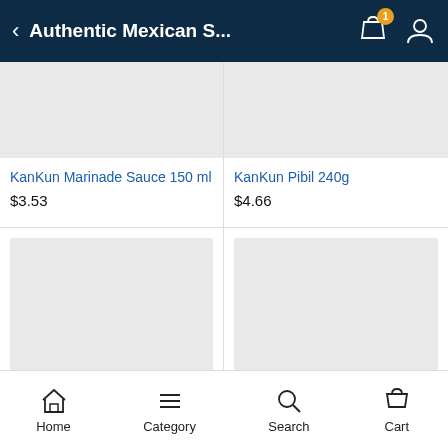Authentic Mexican S...
KanKun Marinade Sauce 150 ml
$3.53
KanKun Pibil 240g
$4.66
Home  Category  Search  Cart